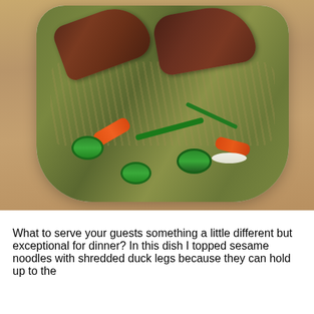[Figure (photo): A white ceramic bowl filled with sesame noodles topped with shredded duck legs, sliced cucumber, carrot sticks, green onions, and white onion, placed on a wooden surface.]
What to serve your guests something a little different but exceptional for dinner? In this dish I topped sesame noodles with shredded duck legs because they can hold up to the